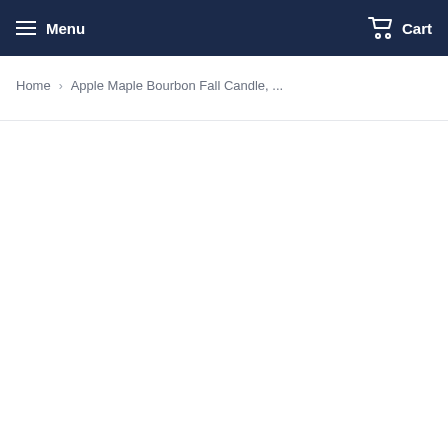Menu  Cart
Home › Apple Maple Bourbon Fall Candle, ...